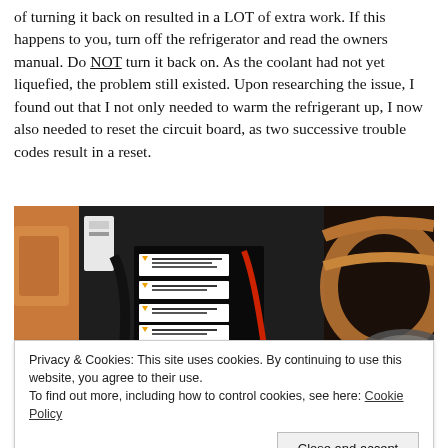of turning it back on resulted in a LOT of extra work. If this happens to you, turn off the refrigerator and read the owners manual. Do NOT turn it back on. As the coolant had not yet liquefied, the problem still existed. Upon researching the issue, I found out that I not only needed to warm the refrigerant up, I now also needed to reset the circuit board, as two successive trouble codes result in a reset.
[Figure (photo): Interior photo of a refrigerator or appliance mechanical compartment showing insulation foam, wiring, caution labels, copper tubing, and electrical components.]
Privacy & Cookies: This site uses cookies. By continuing to use this website, you agree to their use.
To find out more, including how to control cookies, see here: Cookie Policy
Close and accept